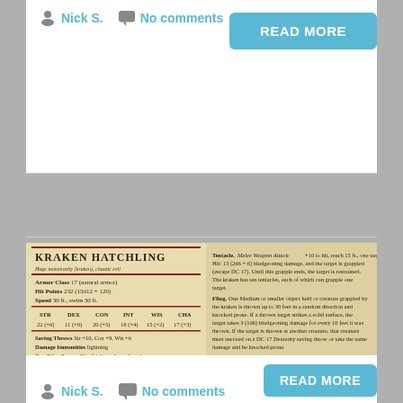Nick S.   No comments
READ MORE
[Figure (screenshot): Kraken Hatchling D&D stat block image showing a parchment-style monster stat block with name, armor class, hit points, speed, ability scores, saving throws, immunities, resistances, senses, languages, challenge rating, and special abilities including Tentacle, Fling, Lightning Field, and Legendary Actions.]
KRAKEN HATCHLING
Nick S.   No comments
READ MORE